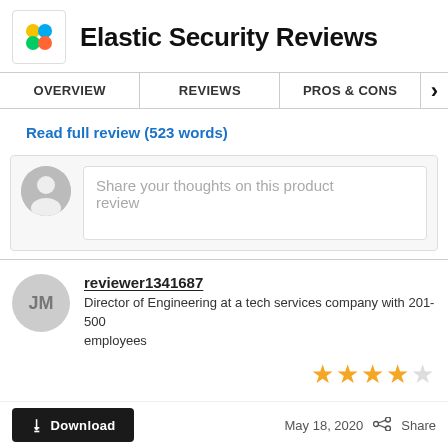Elastic Security Reviews
OVERVIEW | REVIEWS | PROS & CONS
Read full review (523 words)
Share your thoughts on this product review
reviewer1341687
Director of Engineering at a tech services company with 201-500 employees
★★★★☆
Download | May 18, 2020 | Share